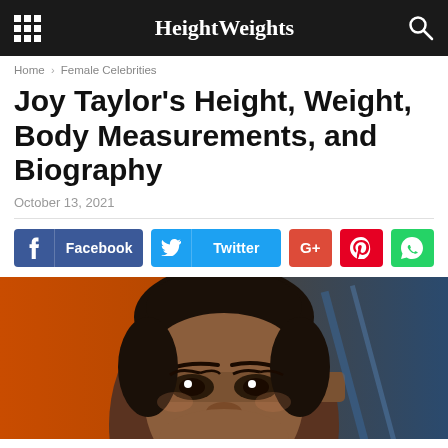HeightWeights
Home > Female Celebrities
Joy Taylor's Height, Weight, Body Measurements, and Biography
October 13, 2021
[Figure (screenshot): Social sharing buttons: Facebook (blue), Twitter (cyan), G+ (red), Pinterest (red), WhatsApp (green)]
[Figure (photo): Close-up portrait photo of Joy Taylor with short curly dark hair, dark eyes, set against a blurred background with orange and blue tones]